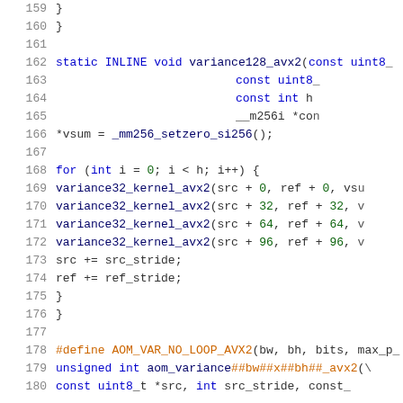[Figure (screenshot): Source code listing in C showing lines 159-180 of a file. Code includes a static INLINE void function variance128_avx2, a for loop calling variance32_kernel_avx2 four times with offsets 0, 32, 64, 96, incrementing src and ref by their strides, and a #define macro AOM_VAR_NO_LOOP_AVX2. Line numbers are shown in gray on the left. Keywords are in blue, numbers in green, preprocessor directives in orange.]